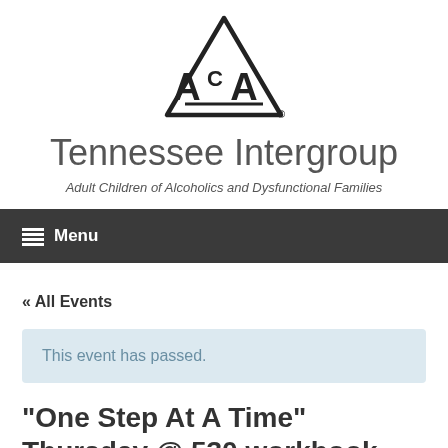[Figure (logo): ACA (Adult Children of Alcoholics) triangle logo with registered trademark symbol]
Tennessee Intergroup
Adult Children of Alcoholics and Dysfunctional Families
Menu
« All Events
This event has passed.
“One Step At A Time” Thursday @ 530 workbook study (CHATT)